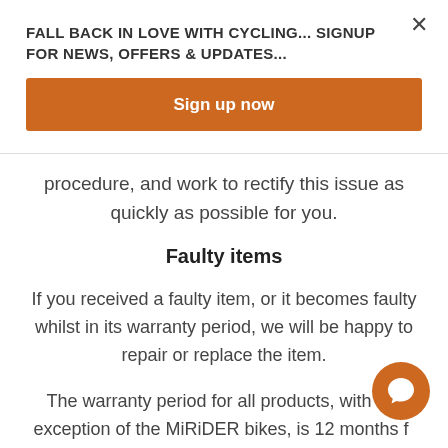FALL BACK IN LOVE WITH CYCLING... SIGNUP FOR NEWS, OFFERS & UPDATES...
Sign up now
procedure, and work to rectify this issue as quickly as possible for you.
Faulty items
If you received a faulty item, or it becomes faulty whilst in its warranty period, we will be happy to repair or replace the item.
The warranty period for all products, with the exception of the MiRiDER bikes, is 12 months from date of purchase. All MiRiDER bikes come with a 1 year warranty from the date of purchase, which can be